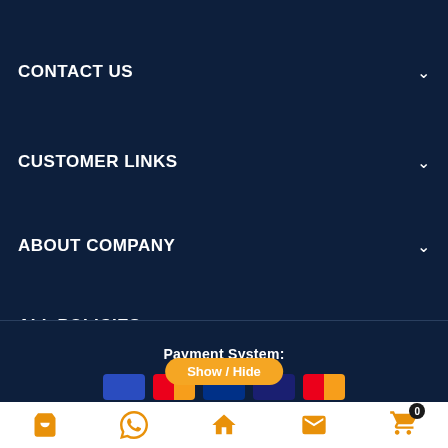CONTACT US
CUSTOMER LINKS
ABOUT COMPANY
ALL POLICIES
Payment System:
Show / Hide
Navigation bar with icons: shop, whatsapp, home, mail, cart (0)